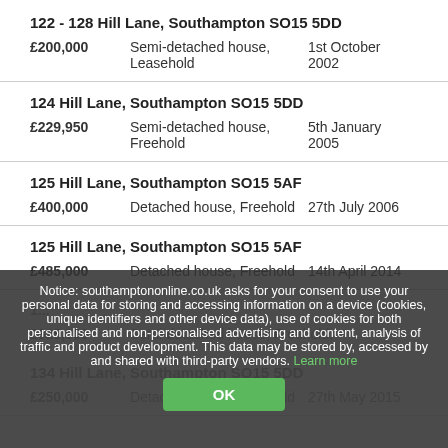122 - 128 Hill Lane, Southampton SO15 5DD
£200,000   Semi-detached house, Leasehold   1st October 2002
124 Hill Lane, Southampton SO15 5DD
£229,950   Semi-detached house, Freehold   5th January 2005
125 Hill Lane, Southampton SO15 5AF
£400,000   Detached house, Freehold   27th July 2006
125 Hill Lane, Southampton SO15 5AF
£485,000   Detached house, Freehold   14th April 2014
1...
£325,000   Semi-detached house, Freehold
134 Hill Lane, Southampton SO15 5DD
£250,000   Detached house, Freehold   27th May 2015
Notice: southamptononline.co.uk asks for your consent to use your personal data for storing and accessing information on a device (cookies, unique identifiers and other device data), use of cookies for both personalised and non-personalised advertising and content, analysis of traffic and product development. This data may be stored by, accessed by and shared with third-party vendors. Learn more